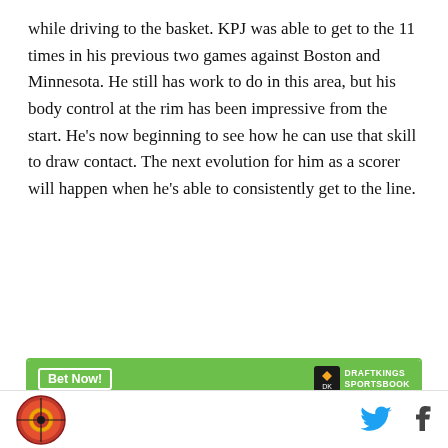while driving to the basket. KPJ was able to get to the 11 times in his previous two games against Boston and Minnesota. He still has work to do in this area, but his body control at the rim has been impressive from the start. He's now beginning to see how he can use that skill to draw contact. The next evolution for him as a scorer will happen when he's able to consistently get to the line.
[Figure (other): DraftKings Sportsbook betting widget for Ricky Rubio with green header bar showing 'Bet Now!' button and DraftKings Sportsbook logo]
Site logo (circular basketball icon) on the left; Twitter and Facebook social icons on the right